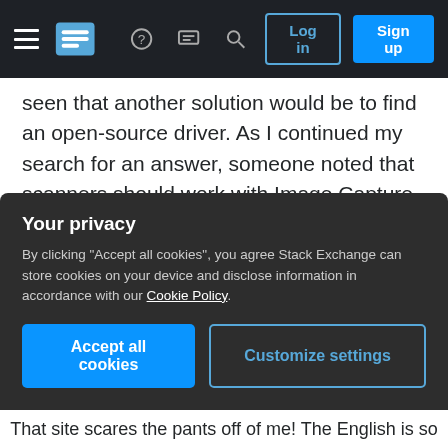Stack Exchange navigation bar with hamburger menu, logo, help, chat, search icons, Log in and Sign up buttons
seen that another solution would be to find an open-source driver. As I continued my search for an answer, someone noted that scanners should work with Image Capture, but Image Capture does not recognize this scanner. Further searching revealed (and I hope I have this right) that Image Capture does not "see" this scanner because the scanner is not TWAIN-compliant. Is there some way I can make this scanner TWAIN-compliant?
graphics
Your privacy
By clicking "Accept all cookies", you agree Stack Exchange can store cookies on your device and disclose information in accordance with our Cookie Policy.
Accept all cookies  Customize settings
That site scares the pants off of me! The English is so